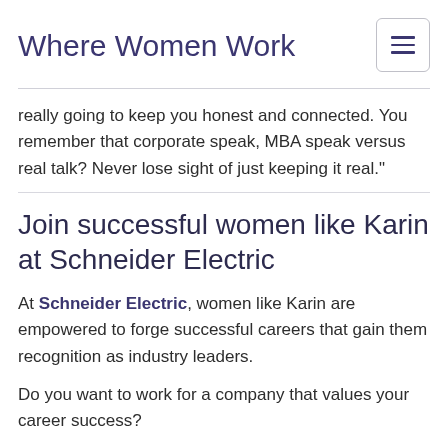Where Women Work
really going to keep you honest and connected. You remember that corporate speak, MBA speak versus real talk? Never lose sight of just keeping it real."
Join successful women like Karin at Schneider Electric
At Schneider Electric, women like Karin are empowered to forge successful careers that gain them recognition as industry leaders.
Do you want to work for a company that values your career success?
Find your ideal job with Schneider Electric.